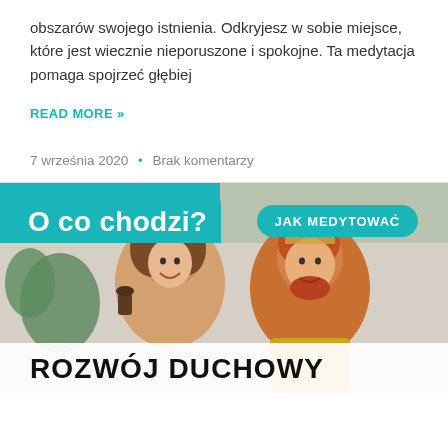obszarów swojego istnienia. Odkryjesz w sobie miejsce, które jest wiecznie nieporuszone i spokojne. Ta medytacja pomaga spojrzeć głębiej
READ MORE »
7 września 2020  •  Brak komentarzy
[Figure (photo): Photo of a smiling couple (woman with curly hair and man with red beard) with overlaid text elements: 'O co chodzi?' in white bold on teal background (top left), 'JAK MEDYTOWAĆ' in white bold on teal oval button (top right), and 'ROZWÓJ DUCHOWY' in large bold black text on white bar at bottom.]